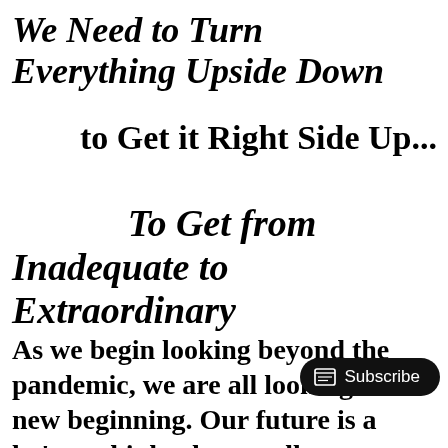We Need to Turn Everything Upside Down
to Get it Right Side Up...
To Get from Inadequate to Extraordinary
As we begin looking beyond the pandemic, we are all looking for a new beginning. Our future is a... let's re-think what a collectively thriving future looks like.